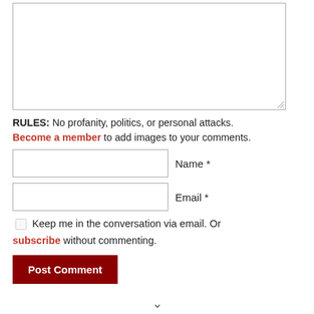[Figure (screenshot): A large empty comment textarea input box with a resize handle in the bottom-right corner.]
RULES: No profanity, politics, or personal attacks. Become a member to add images to your comments.
Name *
Email *
Keep me in the conversation via email. Or subscribe without commenting.
Post Comment